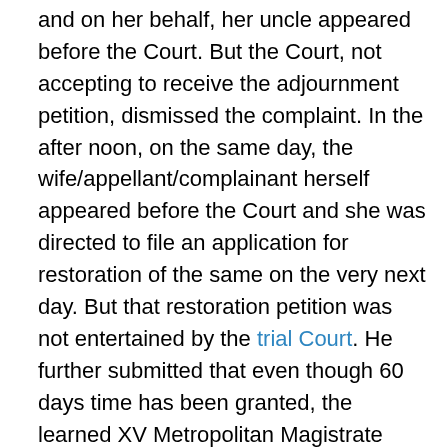and on her behalf, her uncle appeared before the Court. But the Court, not accepting to receive the adjournment petition, dismissed the complaint. In the after noon, on the same day, the wife/appellant/complainant herself appeared before the Court and she was directed to file an application for restoration of the same on the very next day. But that restoration petition was not entertained by the trial Court. He further submitted that even though 60 days time has been granted, the learned XV Metropolitan Magistrate without giving any opportunity, dismissed the complaint for non prosecution. Since wife/appellant is a deserted wife and she is left in lurch, he prayed for setting aside the order.

4.Resisting the same, Mr.S.V.Vijay Prashanth, learned counsel appearing for the respondents submitted that the main aim of the appellant/complainant is to drag on the